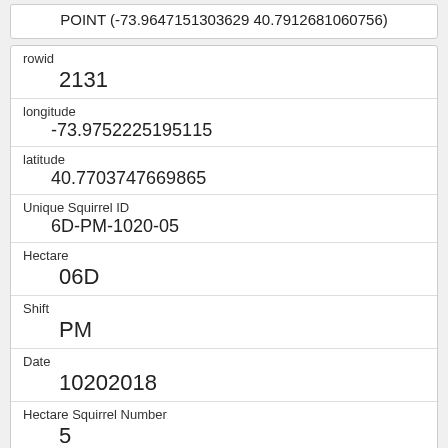POINT (-73.9647151303629 40.7912681060756)
| rowid | 2131 |
| longitude | -73.9752225195115 |
| latitude | 40.7703747669865 |
| Unique Squirrel ID | 6D-PM-1020-05 |
| Hectare | 06D |
| Shift | PM |
| Date | 10202018 |
| Hectare Squirrel Number | 5 |
| Age | Adult |